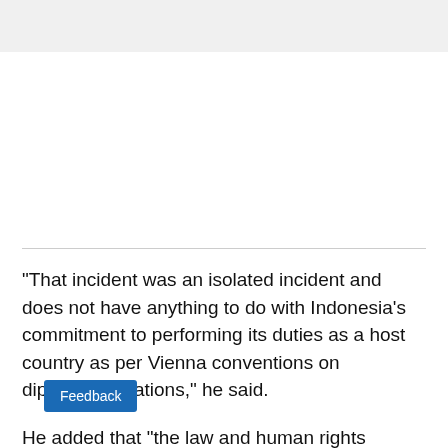"That incident was an isolated incident and does not have anything to do with Indonesia's commitment to performing its duties as a host country as per Vienna conventions on diplomatic relations," he said.
He added that "the law and human rights ministry ha...d an internal investigation as a follow up